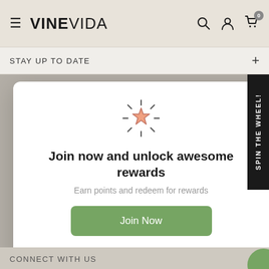VINEVIDA
STAY UP TO DATE
[Figure (screenshot): Rewards program modal popup with a sparkling star icon, title 'Join now and unlock awesome rewards', subtitle 'Earn points and redeem for rewards', a green 'Join Now' button, and 'Already a member? Sign in' link. A 'SPIN THE WHEEL!' vertical black sidebar is visible on the right.]
Join now and unlock awesome rewards
Earn points and redeem for rewards
Join Now
Already a member? Sign in
CONNECT WITH US